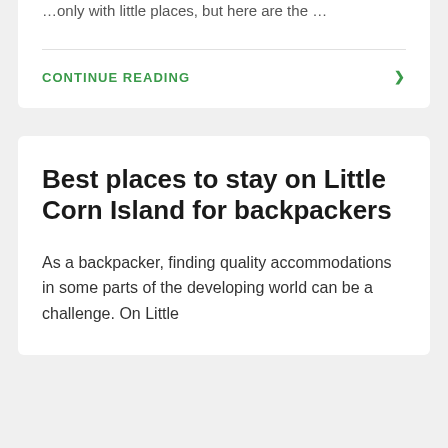…only with little places, but here are the …
CONTINUE READING
Best places to stay on Little Corn Island for backpackers
As a backpacker, finding quality accommodations in some parts of the developing world can be a challenge. On Little